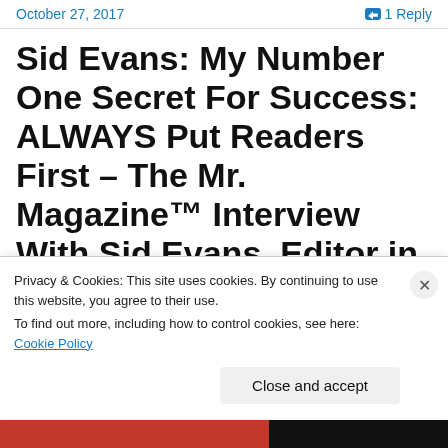October 27, 2017   💬 1 Reply
Sid Evans: My Number One Secret For Success: ALWAYS Put Readers First – The Mr. Magazine™ Interview With Sid Evans, Editor in Chief, Southern Living and Coastal Living Magazines
Privacy & Cookies: This site uses cookies. By continuing to use this website, you agree to their use.
To find out more, including how to control cookies, see here: Cookie Policy
Close and accept